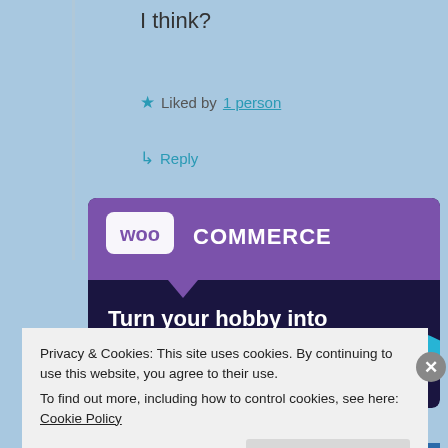I think?
★ Liked by 1 person
↳ Reply
[Figure (illustration): WooCommerce advertisement banner with dark navy background, purple speech bubble logo area with 'WOO COMMERCE' text, green triangle shape on left, light blue arc on right, and bold white text reading 'Turn your hobby into a business in 8 steps']
Privacy & Cookies: This site uses cookies. By continuing to use this website, you agree to their use.
To find out more, including how to control cookies, see here: Cookie Policy
Close and accept